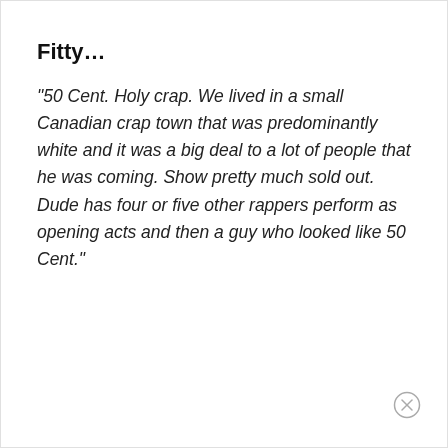Fitty…
"50 Cent. Holy crap. We lived in a small Canadian crap town that was predominantly white and it was a big deal to a lot of people that he was coming. Show pretty much sold out. Dude has four or five other rappers perform as opening acts and then a guy who looked like 50 Cent."